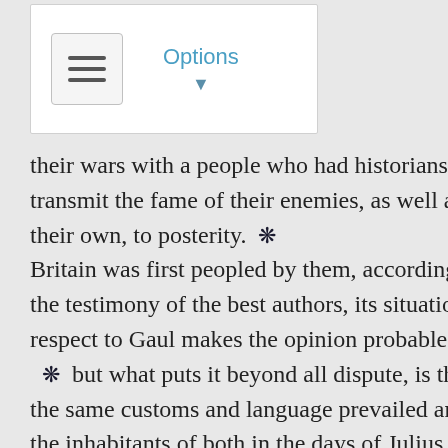[Figure (screenshot): UI widget showing a hamburger menu button and an Options dropdown label with a downward arrow, inside a white rounded rectangle box.]
their wars with a people who had historians to transmit the fame of their enemies, as well as their own, to posterity. ❋ Britain was first peopled by them, according to the testimony of the best authors, its situation in respect to Gaul makes the opinion probable; ❋ but what puts it beyond all dispute, is that the same customs and language prevailed among the inhabitants of both in the days of Julius Cæsar.